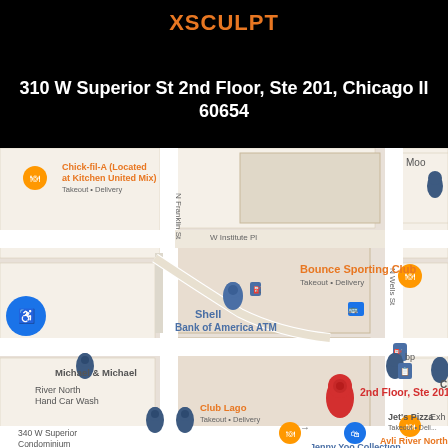XSCULPT
310 W Superior St 2nd Floor, Ste 201, Chicago Il 60654
[Figure (map): Google Maps screenshot showing the area around 310 W Superior St 2nd Floor, Ste 201, Chicago IL 60654. Map shows nearby landmarks including Chick-fil-A (Located at Kitchen United Mix), Shell gas station, Bounce Sporting Club, Bank of America ATM, Michael & Michael, River North Hand Car Wash, Chicago Dance, Club Lago, 340 W Superior Condominium, Eugenias Flowers Chicago, Jenny Yoo Collection Bridal shop, Jet's Pizza, Avli River North, bp gas station, and a red pin marker labeled '2nd Floor, Ste 201'. Streets visible include N Franklin St, W Institute Pl, and N Wells St.]